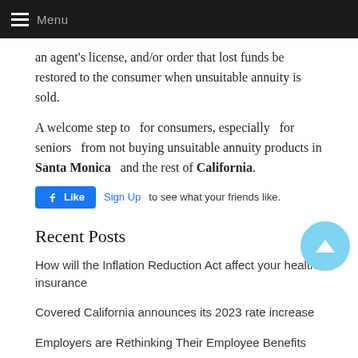Menu
an agent's license, and/or order that lost funds be restored to the consumer when unsuitable annuity is sold.
A welcome step to  for consumers, especially  for seniors  from not buying unsuitable annuity products in Santa Monica  and the rest of California.
[Figure (other): Facebook Like widget with blue Like button and Sign Up link with text 'to see what your friends like.']
Recent Posts
How will the Inflation Reduction Act affect your health insurance
Covered California announces its 2023 rate increase
Employers are Rethinking Their Employee Benefits